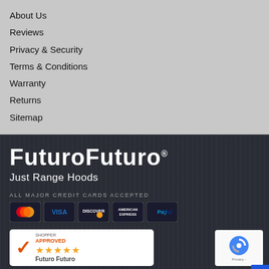About Us
Reviews
Privacy & Security
Terms & Conditions
Warranty
Returns
Sitemap
[Figure (logo): Futuro Futuro logo with tagline 'Just Range Hoods']
ALL MAJOR CREDIT CARDS ACCEPTED
[Figure (infographic): Payment icons: Mastercard, Visa, Discover, American Express, PayPal]
[Figure (logo): Shopper Approved badge with 5 stars and Futuro Futuro brand name]
[Figure (logo): reCAPTCHA badge with Privacy text]
© 2022 Futuro Futuro or its affiliates. All Rights Reserved.